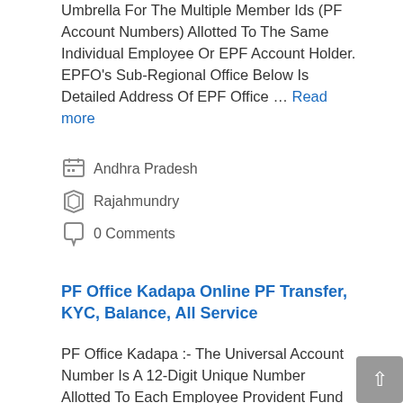Umbrella For The Multiple Member Ids (PF Account Numbers) Allotted To The Same Individual Employee Or EPF Account Holder. EPFO's Sub-Regional Office Below Is Detailed Address Of EPF Office … Read more
Andhra Pradesh
Rajahmundry
0 Comments
PF Office Kadapa Online PF Transfer, KYC, Balance, All Service
PF Office Kadapa :- The Universal Account Number Is A 12-Digit Unique Number Allotted To Each Employee Provident Fund Member By The Employee Provident Fund Organization. This UAN Will Act As An Umbrella